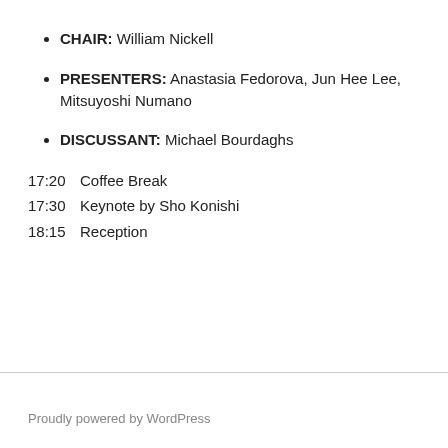CHAIR: William Nickell
PRESENTERS: Anastasia Fedorova, Jun Hee Lee, Mitsuyoshi Numano
DISCUSSANT: Michael Bourdaghs
17:20  Coffee Break
17:30  Keynote by Sho Konishi
18:15  Reception
Proudly powered by WordPress